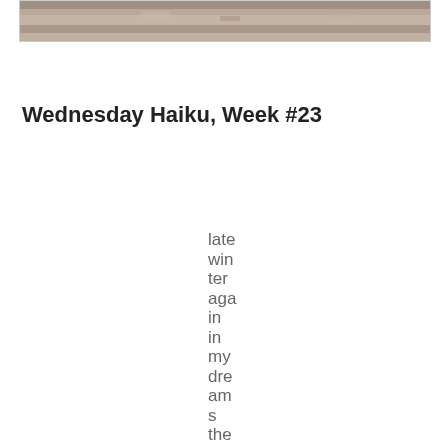[Figure (photo): A photograph showing a ground-level outdoor scene, appears to be dirt/gravel surface, cropped at top of page]
Wednesday Haiku, Week #23
late win ter aga in in my dre am s the